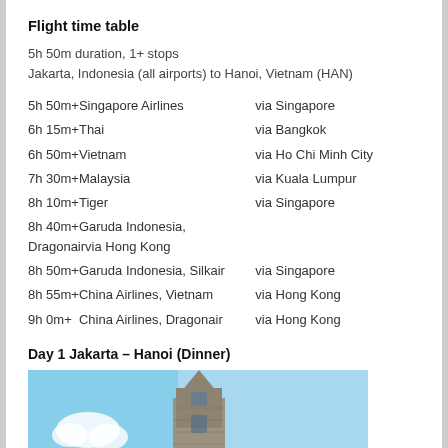Flight time table
5h 50m duration, 1+ stops
Jakarta, Indonesia (all airports) to Hanoi, Vietnam (HAN)
| Airline | Via |
| --- | --- |
| 5h 50m+Singapore Airlines | via Singapore |
| 6h 15m+Thai | via Bangkok |
| 6h 50m+Vietnam | via Ho Chi Minh City |
| 7h 30m+Malaysia | via Kuala Lumpur |
| 8h 10m+Tiger | via Singapore |
| 8h 40m+Garuda Indonesia, Dragonair | via Hong Kong |
| 8h 50m+Garuda Indonesia, Silkair | via Singapore |
| 8h 55m+China Airlines, Vietnam | via Hong Kong |
| 9h 0m+  China Airlines, Dragonair | via Hong Kong |
Day 1 Jakarta – Hanoi (Dinner)
[Figure (photo): Stone bell tower of a church against a blue sky with clouds]